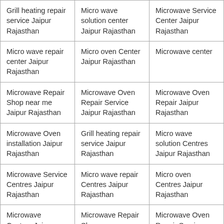| Grill heating repair service Jaipur Rajasthan | Micro wave solution center Jaipur Rajasthan | Microwave Service Center Jaipur Rajasthan |
| Micro wave repair center Jaipur Rajasthan | Micro oven Center Jaipur Rajasthan | Microwave center |
| Microwave Repair Shop near me Jaipur Rajasthan | Microwave Oven Repair Service Jaipur Rajasthan | Microwave Oven Repair Jaipur Rajasthan |
| Microwave Oven installation Jaipur Rajasthan | Grill heating repair service Jaipur Rajasthan | Micro wave solution Centres Jaipur Rajasthan |
| Microwave Service Centres Jaipur Rajasthan | Micro wave repair Centres Jaipur Rajasthan | Micro oven Centres Jaipur Rajasthan |
| Microwave Centres Jaipur Rajasthan | Microwave Repair Shop near me near me in Jaipur | Microwave Oven Repair Service Jaipur Rajasthan |